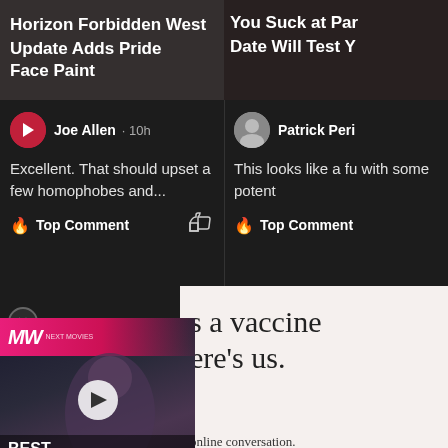Horizon Forbidden West Update Adds Pride Face Paint
Joe Allen · 10h
Excellent. That should upset a few homophobes and...
🔥 Top Comment
You Suck at Par Date Will Test Y
Patrick Peri
This looks like a fu with some potent
🔥 Top Comment
[Figure (screenshot): Advertisement popup card with MW (ManyMore) logo and zombie game video thumbnail. Text reads: 'a vaccine ere's us.' and 'online conversation.' with a 'Learn more' button. Left side shows MW video card for BEST ZOMBIE GAMES.]